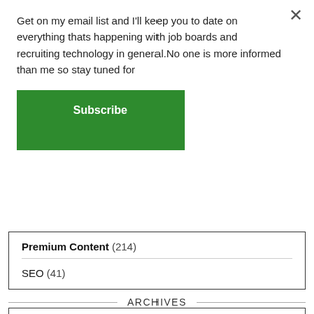Get on my email list and I'll keep you to date on everything thats happening with job boards and recruiting technology in general.No one is more informed than me so stay tuned for
Subscribe
Premium Content (214)
SEO (41)
ARCHIVES
Select Month
FOLLOW ME
* Buy My Ebooks